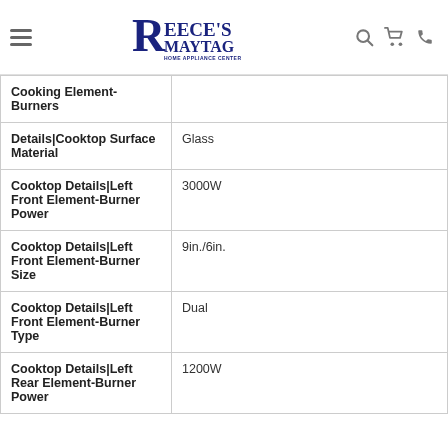Reece's Maytag Home Appliance Center
| Attribute | Value |
| --- | --- |
| Cooking Element-Burners |  |
| Details|Cooktop Surface Material | Glass |
| Cooktop Details|Left Front Element-Burner Power | 3000W |
| Cooktop Details|Left Front Element-Burner Size | 9in./6in. |
| Cooktop Details|Left Front Element-Burner Type | Dual |
| Cooktop Details|Left Rear Element-Burner Power | 1200W |